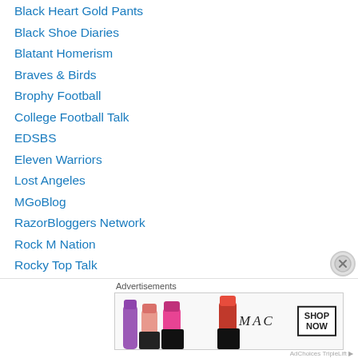Black Heart Gold Pants
Black Shoe Diaries
Blatant Homerism
Braves & Birds
Brophy Football
College Football Talk
EDSBS
Eleven Warriors
Lost Angeles
MGoBlog
RazorBloggers Network
Rock M Nation
Rocky Top Talk
Saturday Down South
Saturday Tradition
Shakin The Southland
Sweet Football…
[Figure (screenshot): Advertisement banner for MAC cosmetics showing lipsticks and SHOP NOW button]